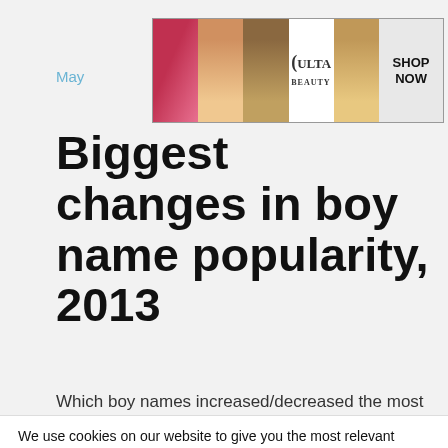[Figure (other): Ulta Beauty advertisement banner showing makeup close-up photos with 'SHOP NOW' text]
May
Biggest changes in boy name popularity, 2013
Which boy names increased/decreased the most in
We use cookies on our website to give you the most relevant experience by remembering your preferences and repeat visits. By clicking “Accept”, you consent to the use of ALL the cookies.
Do not sell my personal information.
[Figure (other): Ulta Beauty advertisement banner at bottom of page showing makeup photos with 'SHOP NOW' text, with CLOSE button]